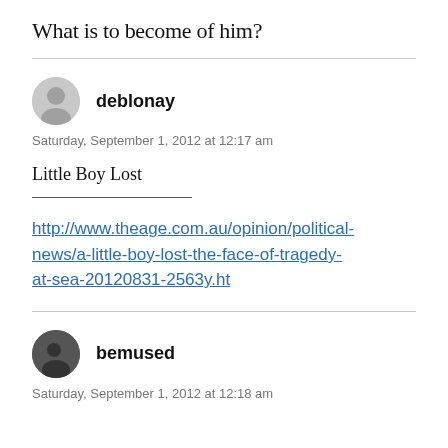What is to become of him?
deblonay
Saturday, September 1, 2012 at 12:17 am
Little Boy Lost
http://www.theage.com.au/opinion/political-news/a-little-boy-lost-the-face-of-tragedy-at-sea-20120831-2563y.ht
bemused
Saturday, September 1, 2012 at 12:18 am